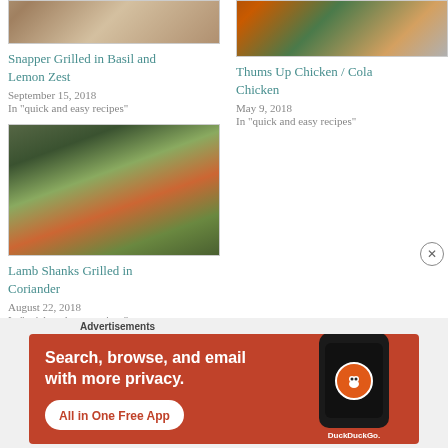[Figure (photo): Cropped top of a grilled snapper dish on a plate]
Snapper Grilled in Basil and Lemon Zest
September 15, 2018
In "quick and easy recipes"
[Figure (photo): Cropped top of a chicken dish in a bowl]
Thums Up Chicken / Cola Chicken
May 9, 2018
In "quick and easy recipes"
[Figure (photo): Lamb shanks grilled in coriander on a plate with vegetables]
Lamb Shanks Grilled in Coriander
August 22, 2018
In "quick and easy recipes"
Advertisements
[Figure (screenshot): DuckDuckGo advertisement banner: Search, browse, and email with more privacy. All in One Free App]